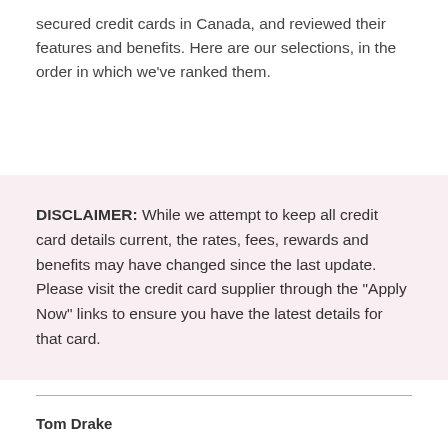secured credit cards in Canada, and reviewed their features and benefits. Here are our selections, in the order in which we've ranked them.
DISCLAIMER: While we attempt to keep all credit card details current, the rates, fees, rewards and benefits may have changed since the last update. Please visit the credit card supplier through the "Apply Now" links to ensure you have the latest details for that card.
Tom Drake